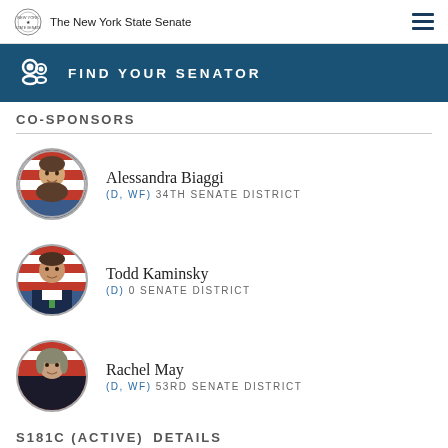The New York State Senate
FIND YOUR SENATOR
CO-SPONSORS
Alessandra Biaggi
(D, WF) 34TH SENATE DISTRICT
Todd Kaminsky
(D) 0 SENATE DISTRICT
Rachel May
(D, WF) 53RD SENATE DISTRICT
S181C (ACTIVE) DETAILS